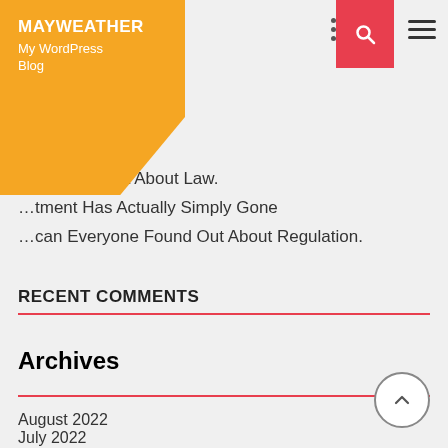MAYWEATHER My WordPress Blog
…ryone Learnt About Law.
…tment Has Actually Simply Gone
…can Everyone Found Out About Regulation.
RECENT COMMENTS
ARCHIVES
August 2022
July 2022